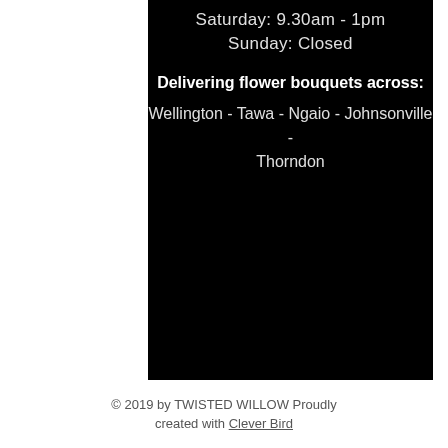Saturday: 9.30am - 1pm
Sunday: Closed
Delivering flower bouquets across:
Wellington - Tawa - Ngaio - Johnsonville - Thorndon
© 2019 by TWISTED WILLOW Proudly created with Clever Bird